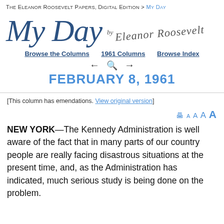The Eleanor Roosevelt Papers, Digital Edition > My Day
My Day by Eleanor Roosevelt
Browse the Columns  1961 Columns  Browse Index
← 🔍 → FEBRUARY 8, 1961
[This column has emendations. View original version]
NEW YORK—The Kennedy Administration is well aware of the fact that in many parts of our country people are really facing disastrous situations at the present time, and, as the Administration has indicated, much serious study is being done on the problem.